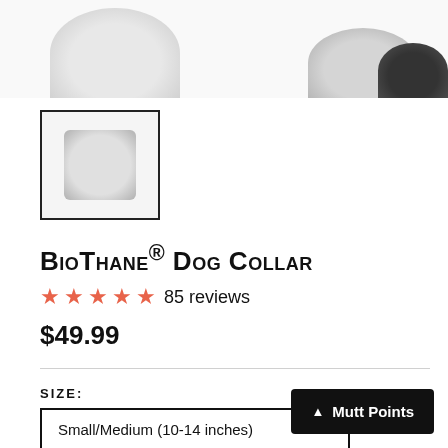[Figure (photo): Partial product image at top of page showing two circular/rounded collar product images cropped at the top edge]
[Figure (photo): Thumbnail image of the BioThane Dog Collar product in a bordered square box]
BioThane® Dog Collar
★★★★★ 85 reviews
$49.99
SIZE:
Small/Medium (10-14 inches)
Medium (12-16 inches)
Medium/Large (14-18 inches)
Large (16-20 inches)
Large/XL (1…)
▲ Mutt Points